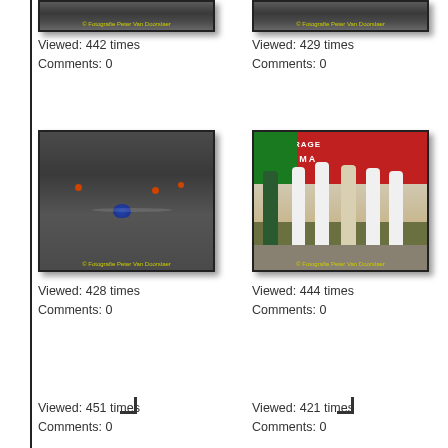[Figure (photo): Partial top of a photo showing swimmers in water, cropped at top of page]
Viewed: 442 times
Comments: 0
[Figure (photo): Partial top of a photo showing swimmers in water, cropped at top of page]
Viewed: 429 times
Comments: 0
[Figure (photo): Swimmer in dark water wearing blue cap, with floating buoys visible]
Viewed: 428 times
Comments: 0
[Figure (photo): Group of people standing near a red banner/sign, some wearing white robes and green jacket]
Viewed: 444 times
Comments: 0
[Figure (photo): Placeholder/missing thumbnail, shown as corner bracket]
Viewed: 451 times
Comments: 0
[Figure (photo): Placeholder/missing thumbnail, shown as corner bracket]
Viewed: 421 times
Comments: 0